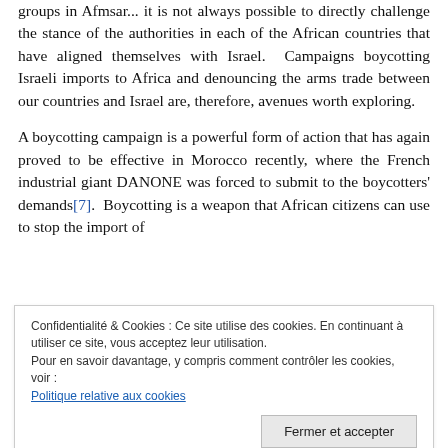groups in Afmsar... it is not always possible to directly challenge the stance of the authorities in each of the African countries that have aligned themselves with Israel. Campaigns boycotting Israeli imports to Africa and denouncing the arms trade between our countries and Israel are, therefore, avenues worth exploring.
A boycotting campaign is a powerful form of action that has again proved to be effective in Morocco recently, where the French industrial giant DANONE was forced to submit to the boycotters' demands[7]. Boycotting is a weapon that African citizens can use to stop the import of
Confidentialité & Cookies : Ce site utilise des cookies. En continuant à utiliser ce site, vous acceptez leur utilisation.
Pour en savoir davantage, y compris comment contrôler les cookies, voir :
Politique relative aux cookies
[Button: Fermer et accepter]
understanding how the product labelling system, which is